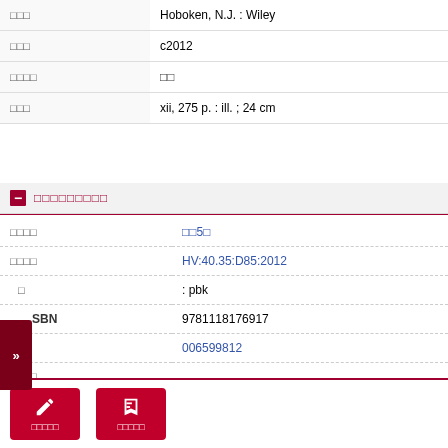| field | value |
| --- | --- |
| □□□ | Hoboken, N.J. : Wiley |
| □□□ | c2012 |
| □□□□ | □□ |
| □□□ | xii, 275 p. : ill. ; 24 cm |
□□□□□□□□□
| field | value |
| --- | --- |
| □□□□ | □□5□ |
| □□□□ | HV:40.35:D85:2012 |
| □ | : pbk |
| SBN | 9781118176917 |
| □□□ | 006599812 |
| □□□□ |  |
| □□□□ |  |
| □□□□ |  |